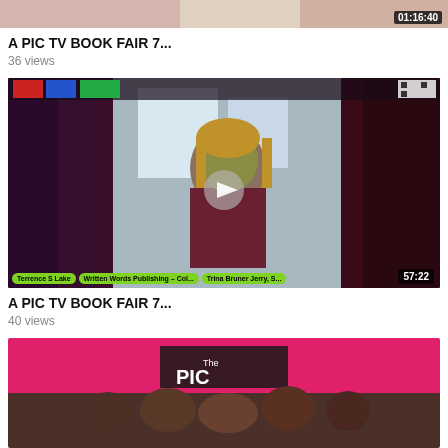[Figure (screenshot): Partial video thumbnail at top, cropped, with duration badge 01:16:40]
A PIC TV BOOK FAIR 7...
36 views
[Figure (screenshot): Video thumbnail showing a woman seated in a home setting, with bottom labels: Terrence S Lake, Written Words Publishing - Col..., Trina Bruner Jerry, S... and duration 57:22]
A PIC TV BOOK FAIR 7...
40 views
[Figure (screenshot): Partial video thumbnail at bottom showing pink background with 'The PIC' logo and people below]